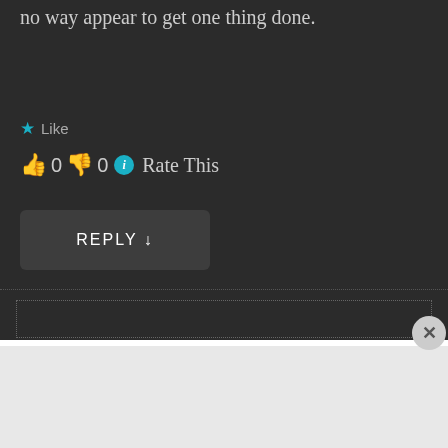no way appear to get one thing done.
★ Like
👍 0 👎 0 ℹ Rate This
REPLY ↓
[Figure (screenshot): Empty comment/reply box with dotted border on dark background]
Advertisements
[Figure (infographic): DuckDuckGo advertisement banner: Search, browse, and email with more privacy. All in One Free App. Shows DuckDuckGo logo on a phone.]